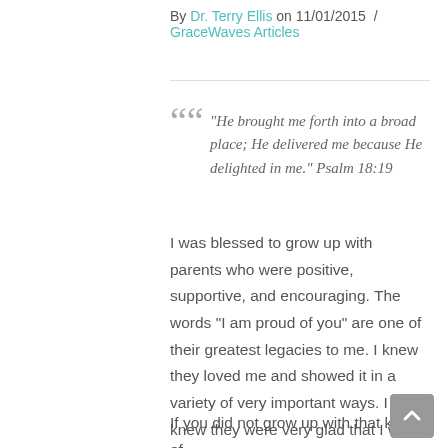By Dr. Terry Ellis on 11/01/2015 / GraceWaves Articles
“He brought me forth into a broad place; He delivered me because He delighted in me.” Psalm 18:19
I was blessed to grow up with parents who were positive, supportive, and encouraging. The words “I am proud of you” are one of their greatest legacies to me. I knew they loved me and showed it in a variety of very important ways. I knew they were very glad that I was their son.
If you did not grow up with that kind of